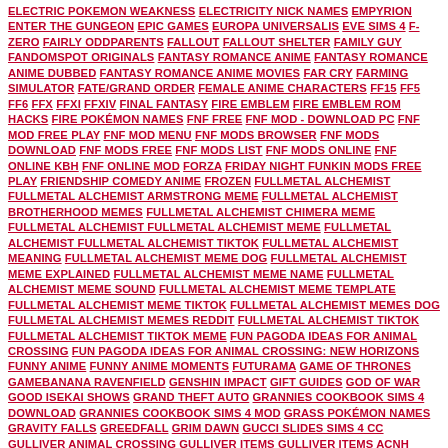ELECTRIC POKEMON WEAKNESS   ELECTRICITY NICK NAMES   EMPYRION   ENTER THE GUNGEON   EPIC GAMES   EUROPA UNIVERSALIS   EVE SIMS 4   F-ZERO   FAIRLY ODDPARENTS   FALLOUT   FALLOUT SHELTER   FAMILY GUY   FANDOMSPOT ORIGINALS   FANTASY ROMANCE ANIME   FANTASY ROMANCE ANIME DUBBED   FANTASY ROMANCE ANIME MOVIES   FAR CRY   FARMING SIMULATOR   FATE/GRAND ORDER   FEMALE ANIME CHARACTERS   FF15   FF5   FF6   FFX   FFXI   FFXIV   FINAL FANTASY   FIRE EMBLEM   FIRE EMBLEM ROM HACKS   FIRE POKÉMON NAMES   FNF FREE   FNF MOD - DOWNLOAD PC   FNF MOD FREE PLAY   FNF MOD MENU   FNF MODS BROWSER   FNF MODS DOWNLOAD   FNF MODS FREE   FNF MODS LIST   FNF MODS ONLINE   FNF ONLINE KBH   FNF ONLINE MOD   FORZA   FRIDAY NIGHT FUNKIN MODS FREE PLAY   FRIENDSHIP COMEDY ANIME   FROZEN   FULLMETAL ALCHEMIST   FULLMETAL ALCHEMIST ARMSTRONG MEME   FULLMETAL ALCHEMIST BROTHERHOOD MEMES   FULLMETAL ALCHEMIST CHIMERA MEME   FULLMETAL ALCHEMIST FULLMETAL ALCHEMIST MEME   FULLMETAL ALCHEMIST FULLMETAL ALCHEMIST TIKTOK   FULLMETAL ALCHEMIST MEANING   FULLMETAL ALCHEMIST MEME DOG   FULLMETAL ALCHEMIST MEME EXPLAINED   FULLMETAL ALCHEMIST MEME NAME   FULLMETAL ALCHEMIST MEME SOUND   FULLMETAL ALCHEMIST MEME TEMPLATE   FULLMETAL ALCHEMIST MEME TIKTOK   FULLMETAL ALCHEMIST MEMES DOG   FULLMETAL ALCHEMIST MEMES REDDIT   FULLMETAL ALCHEMIST TIKTOK   FULLMETAL ALCHEMIST TIKTOK MEME   FUN PAGODA IDEAS FOR ANIMAL CROSSING   FUN PAGODA IDEAS FOR ANIMAL CROSSING: NEW HORIZONS   FUNNY ANIME   FUNNY ANIME MOMENTS   FUTURAMA   GAME OF THRONES   GAMEBANANA RAVENFIELD   GENSHIN IMPACT   GIFT GUIDES   GOD OF WAR   GOOD ISEKAI SHOWS   GRAND THEFT AUTO   GRANNIES COOKBOOK SIMS 4 DOWNLOAD   GRANNIES COOKBOOK SIMS 4 MOD   GRASS POKÉMON NAMES   GRAVITY FALLS   GREEDFALL   GRIM DAWN   GUCCI SLIDES SIMS 4 CC   GULLIVER ANIMAL CROSSING   GULLIVER ITEMS   GULLIVER ITEMS ACNH   GUNDAM   HAIR CLOTHES MODS   HALF-LIFE   HALO   HANDSOME ANIME CHARACTERS